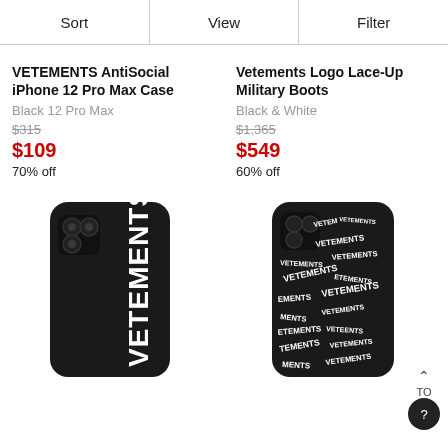Sort   View   Filter
VETEMENTS AntiSocial iPhone 12 Pro Max Case
Black 12 Pro Max
$315
$109
70% off
Vetements Logo Lace-Up Military Boots
Black & White
$1,365
$549
60% off
[Figure (photo): Black iPhone 12 Pro Max case with large vertical VETEMENTS text on the back]
[Figure (photo): Black iPhone case covered with repeated VETEMENTS logo text pattern in white]